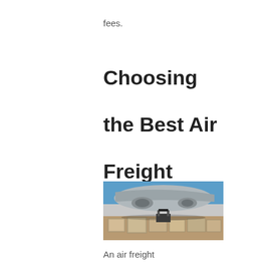fees.
Choosing the Best Air Freight Services
[Figure (photo): Underside of a cargo aircraft with freight containers being loaded on the tarmac]
An air freight